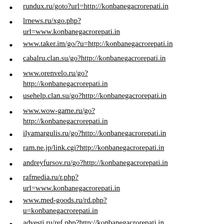rundux.ru/goto?url=http://konbanegacrorepati.in
lrnews.ru/xgo.php?url=www.konbanegacrorepati.in
www.taker.im/go/?u=http://konbanegacrorepati.in
cabalru.clan.su/go?http://konbanegacrorepati.in
www.orenvelo.ru/go?http://konbanegacrorepati.in
usehelp.clan.su/go?http://konbanegacrorepati.in
www.wow-game.ru/go?http://konbanegacrorepati.in
ilyamargulis.ru/go?http://konbanegacrorepati.in
ram.ne.jp/link.cgi?http://konbanegacrorepati.in
andreyfursov.ru/go?http://konbanegacrorepati.in
rafmedia.ru/r.php?url=www.konbanegacrorepati.in
www.med-goods.ru/rd.php?u=konbanegacrorepati.in
advesti.ru/ref.php?http://konbanegacrorepati.in
sepoa.fr/wp/go.php?http://konbanegacrorepati.in